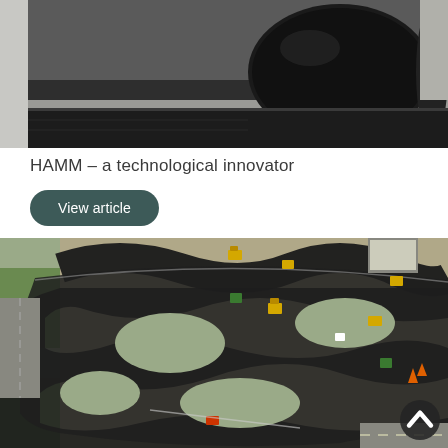[Figure (photo): Close-up photo of a large black roller drum being used to roll out or compact asphalt/material on a road surface, viewed from the side in an industrial/construction setting.]
HAMM – a technological innovator
View article
[Figure (photo): Aerial drone photograph of a winding asphalt test track under construction, showing a serpentine black road layout with construction equipment (yellow machines) and workers visible on site. The track has multiple curves and S-bends.]